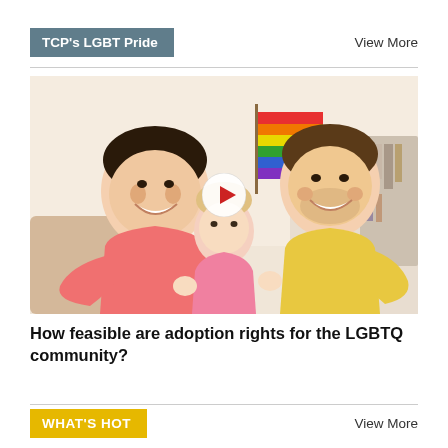TCP's LGBT Pride
View More
[Figure (photo): Two men smiling and holding a baby dressed in pink, with a rainbow pride flag in the background. A circular video play button overlay is visible in the center of the image.]
How feasible are adoption rights for the LGBTQ community?
WHAT'S HOT
View More